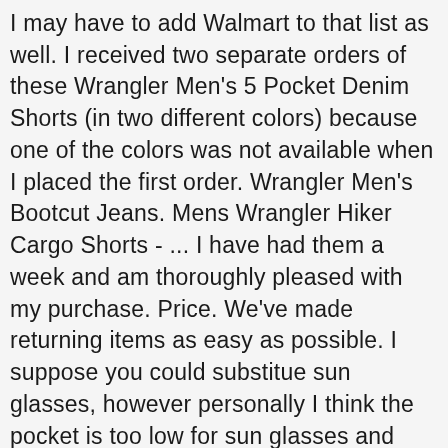I may have to add Walmart to that list as well. I received two separate orders of these Wrangler Men's 5 Pocket Denim Shorts (in two different colors) because one of the colors was not available when I placed the first order. Wrangler Men's Bootcut Jeans. Mens Wrangler Hiker Cargo Shorts - ... I have had them a week and am thoroughly pleased with my purchase. Price. We've made returning items as easy as possible. I suppose you could substitue sun glasses, however personally I think the pocket is too low for sun glasses and they might get damaged. Free postage. They also come with a cellphone pocket on the left side, a 10-inch inseam, and a U-shape construction for increased comfort where you need it most. Wrangler Men's Comfort Flex Chino Pant. $18.95. Please enter 6 digits for the postal code. 1 watching. Features a relaxed seat and thigh that sits at the natural waistline and secure button closure with heavy duty